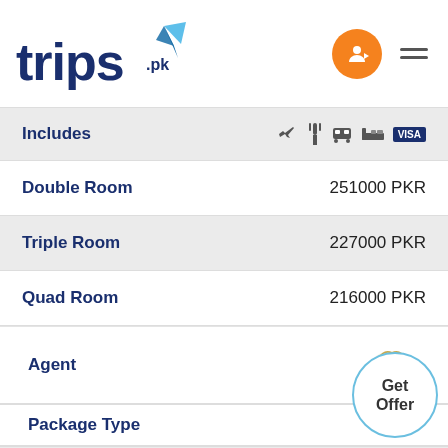[Figure (logo): trips.pk logo with blue text and orange star/leaf graphic]
|  |  |
| --- | --- |
| Includes | ✈ 🍽 🚌 🛏 VISA |
| Double Room | 251000 PKR |
| Triple Room | 227000 PKR |
| Quad Room | 216000 PKR |
Agent
Package Type    4 Star
|  |  |
| --- | --- |
| Includes | ✈ 🍽 🚌 🛏 VISA |
| Double Room | 236000 PKR |
| Triple Room | 217000 PKR |
| Quad Room | 207000 PKR |